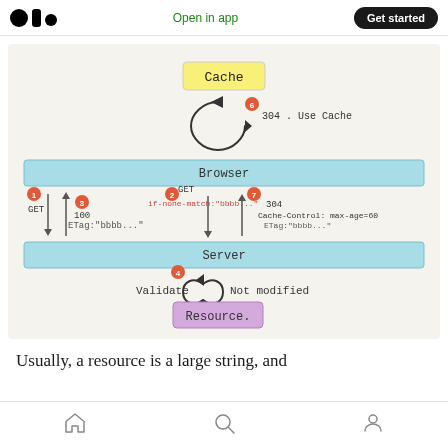Medium logo | Open in app | Get started
[Figure (flowchart): HTTP caching diagram showing interactions between Browser, Server, Cache, and Resource. Numbered steps (1-7) illustrate GET requests, 100/304 responses, ETag validation, Cache-Control headers (max-age=60), and 'Not modified' responses. Handwritten-style annotations on a beige background with light blue Browser and Server bars, yellow Cache box, and purple Resource box.]
Usually, a resource is a large string, and
Home | Search | Profile